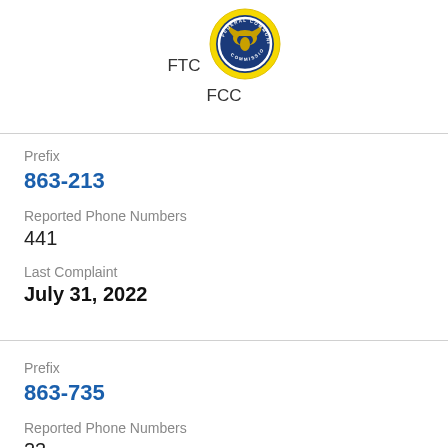[Figure (logo): FCC Commission seal/logo with FTC label above and FCC label below]
Prefix
863-213
Reported Phone Numbers
441
Last Complaint
July 31, 2022
Prefix
863-735
Reported Phone Numbers
23
Last Complaint